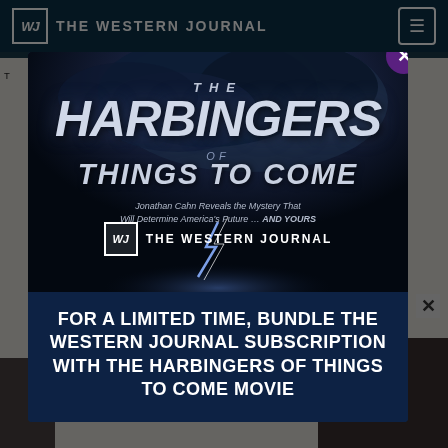THE WESTERN JOURNAL
[Figure (screenshot): Modal advertisement overlay on The Western Journal website. Modal shows 'The Harbingers of Things to Come' movie promotional image with dramatic dark cloudy sky and lightning. Includes Western Journal logo and promotional text.]
FOR A LIMITED TIME, BUNDLE THE WESTERN JOURNAL SUBSCRIPTION WITH THE HARBINGERS OF THINGS TO COME MOVIE